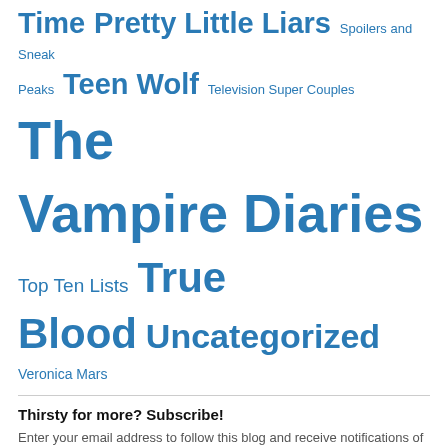Time Pretty Little Liars Spoilers and Sneak Peaks Teen Wolf Television Super Couples The Vampire Diaries Top Ten Lists True Blood Uncategorized Veronica Mars
Thirsty for more? Subscribe!
Enter your email address to follow this blog and receive notifications of new posts by email.